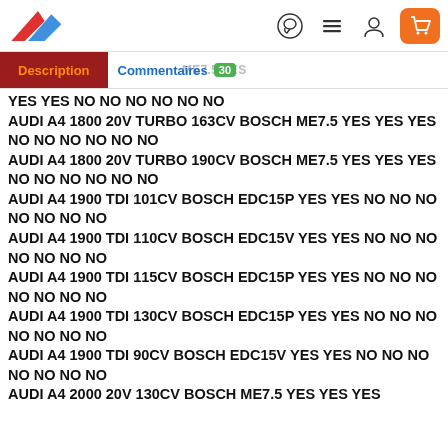Header with logo and navigation icons
YES YES NO NO NO NO NO NO
AUDI A4 1800 20V TURBO 163CV BOSCH ME7.5 YES YES YES NO NO NO NO NO NO
AUDI A4 1800 20V TURBO 190CV BOSCH ME7.5 YES YES YES NO NO NO NO NO NO
AUDI A4 1900 TDI 101CV BOSCH EDC15P YES YES NO NO NO NO NO NO NO
AUDI A4 1900 TDI 110CV BOSCH EDC15V YES YES NO NO NO NO NO NO NO
AUDI A4 1900 TDI 115CV BOSCH EDC15P YES YES NO NO NO NO NO NO NO
AUDI A4 1900 TDI 130CV BOSCH EDC15P YES YES NO NO NO NO NO NO NO
AUDI A4 1900 TDI 90CV BOSCH EDC15V YES YES NO NO NO NO NO NO NO
AUDI A4 2000 20V 130CV BOSCH ME7.5 YES YES YES